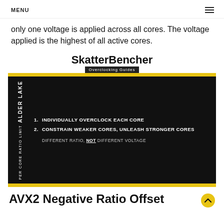MENU
only one voltage is applied across all cores. The voltage applied is the highest of all active cores.
[Figure (infographic): SkatterBencher Overclocking Guides infographic showing Alder Lake Per Core Ratio Limit. Black box with yellow border listing: 1. Individually overclock each core  2. Constrain weaker cores, unleash stronger cores. Different ratio, NOT different voltage.]
AVX2 Negative Ratio Offset